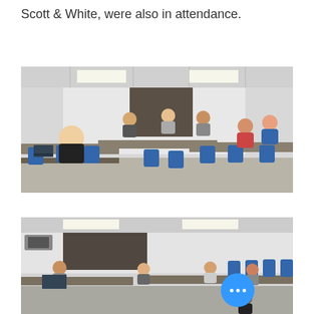Scott & White, were also in attendance.
[Figure (photo): Conference room photo showing several people seated around tables arranged in a U-shape in a modern meeting room with blue chairs. A person with blonde hair in black sits in foreground, others seated around the room.]
[Figure (photo): Same or similar conference room photo showing people seated at tables with blue chairs. A blue circular button with three dots (menu icon) overlays the bottom right of the image.]